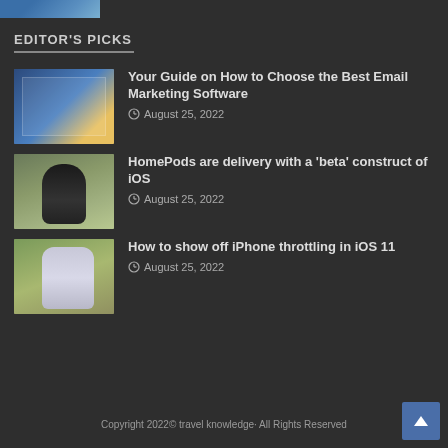[Figure (screenshot): Partial image thumbnail visible at top left corner of page]
EDITOR'S PICKS
[Figure (screenshot): Thumbnail of email marketing software interface screenshot]
Your Guide on How to Choose the Best Email Marketing Software
August 25, 2022
[Figure (photo): Person holding a smartphone showing the home screen]
HomePods are delivery with a 'beta' construct of iOS
August 25, 2022
[Figure (photo): Person holding a white/lavender iPhone from behind outdoors]
How to show off iPhone throttling in iOS 11
August 25, 2022
Copyright 2022© travel knowledge· All Rights Reserved